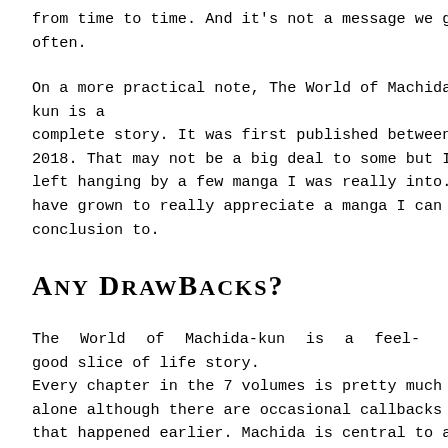from time to time. And it's not a message we get that often.
On a more practical note, The World of Machida-kun is a complete story. It was first published between 2015 and 2018. That may not be a big deal to some but I have been left hanging by a few manga I was really into. That's why I have grown to really appreciate a manga I can get a proper conclusion to.
Any Drawbacks?
The World of Machida-kun is a feel-good slice of life story. Every chapter in the 7 volumes is pretty much stand-alone although there are occasional callbacks to events that happened earlier. Machida is central to all the stories